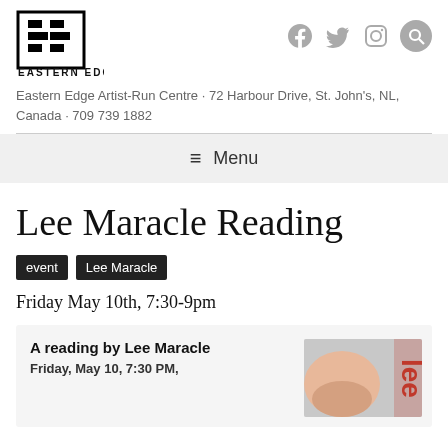[Figure (logo): Eastern Edge logo — stylized 'EE' letters in black and white inside a square border, with 'EASTERN EDGE' text below]
[Figure (infographic): Social media icons: Facebook, Twitter, Instagram, and Search (magnifying glass in grey circle)]
Eastern Edge Artist-Run Centre · 72 Harbour Drive, St. John's, NL, Canada · 709 739 1882
≡ Menu
Lee Maracle Reading
event
Lee Maracle
Friday May 10th, 7:30-9pm
A reading by Lee Maracle
Friday, May 10, 7:30 PM,